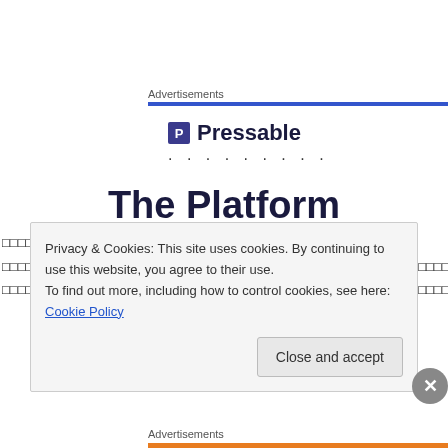Advertisements
[Figure (logo): Pressable logo with blue bar]
The Platform
□□□□□□□□□□□□□Rivington Street□□□□□□□□□□□Bottega Prelibato□□
□□□□□□□□□□□□□□□□□□□□□□□□□□□□□□□□□□□□□□□□□□□□□□□□□□□□□□□□□□□□□□□□□□□□□□□□□□□□□□□□□□□□□□□□□□□
□□□□□□□□□□□□□□□□□□□□□□□□□□□□□□□□□□□□□□□□□□□□□□□□□□□□□□□□□□□□□□□□□□□□□□□□□□□□□□□□□□□□□□□□□□□□□□□□□□□□
Privacy & Cookies: This site uses cookies. By continuing to use this website, you agree to their use.
To find out more, including how to control cookies, see here: Cookie Policy
Close and accept
Advertisements